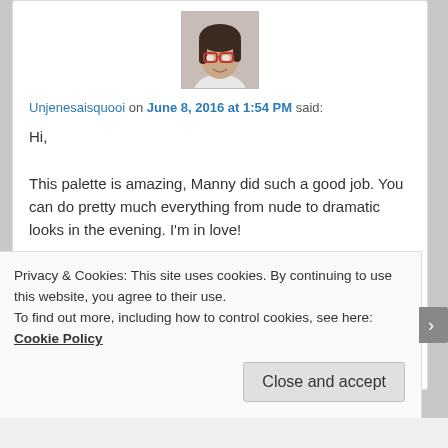[Figure (photo): Avatar/profile photo of a woman with glasses and dark hair, smiling, wearing a white top]
Unjenesaisquooi on June 8, 2016 at 1:54 PM said:
Hi,

This palette is amazing, Manny did such a good job. You can do pretty much everything from nude to dramatic looks in the evening. I'm in love!

xx
★ Like
Reply ↓
Privacy & Cookies: This site uses cookies. By continuing to use this website, you agree to their use.
To find out more, including how to control cookies, see here: Cookie Policy
Close and accept